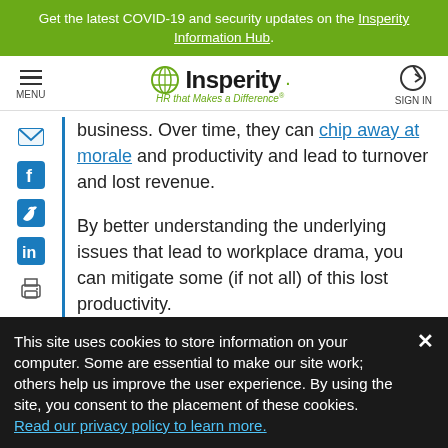Get the latest COVID-19 and security updates on the Insperity Information Hub.
[Figure (logo): Insperity logo with hamburger menu on left and sign-in on right]
business. Over time, they can chip away at morale and productivity and lead to turnover and lost revenue.
By better understanding the underlying issues that lead to workplace drama, you can mitigate some (if not all) of this lost productivity.
This site uses cookies to store information on your computer. Some are essential to make our site work; others help us improve the user experience. By using the site, you consent to the placement of these cookies. Read our privacy policy to learn more.